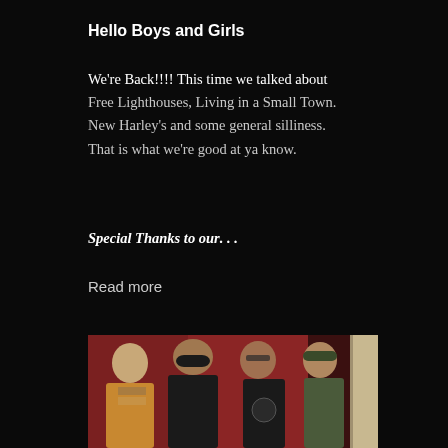Hello Boys and Girls
We're Back!!!! This time we talked about Free Lighthouses, Living in a Small Town. New Harley's and some general silliness. That is what we're good at ya know.
Special Thanks to our. . .
Read more
[Figure (photo): Group photo of four men standing together against a reddish-brown wall. From left to right: an older man with light hair wearing a tan jacket, a larger man in a black beanie and black t-shirt, a man with glasses and a beard in a black t-shirt, and a man in a green cap and olive jacket. A white door frame is visible on the right edge.]